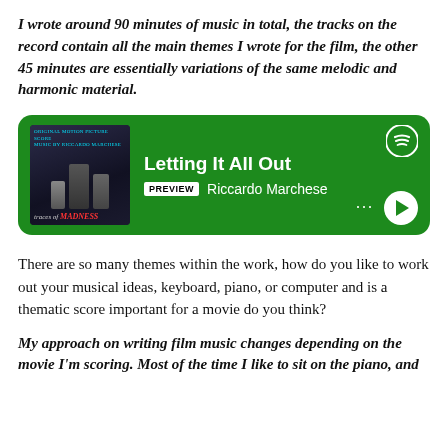I wrote around 90 minutes of music in total, the tracks on the record contain all the main themes I wrote for the film, the other 45 minutes are essentially variations of the same melodic and harmonic material.
[Figure (screenshot): Spotify player card with green background showing album art for 'traces of MADNESS', song title 'Letting It All Out', PREVIEW badge, artist 'Riccardo Marchese', play button, and Spotify logo.]
There are so many themes within the work, how do you like to work out your musical ideas, keyboard, piano, or computer and is a thematic score important for a movie do you think?
My approach on writing film music changes depending on the movie I'm scoring. Most of the time I like to sit on the piano, and